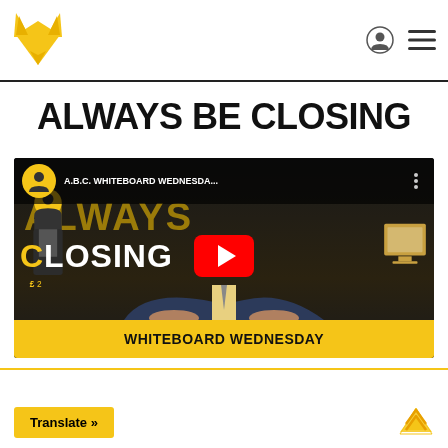Navigation header with fox logo, user icon, and menu icon
ALWAYS BE CLOSING
[Figure (screenshot): YouTube video thumbnail for 'A.B.C. WHITEBOARD WEDNESDAY' showing a man in a dark jacket leaning forward, text 'CLOSING' on screen, a yellow play button overlay, and a yellow bottom banner reading 'WHITEBOARD WEDNESDAY']
Translate »
Scroll up arrow